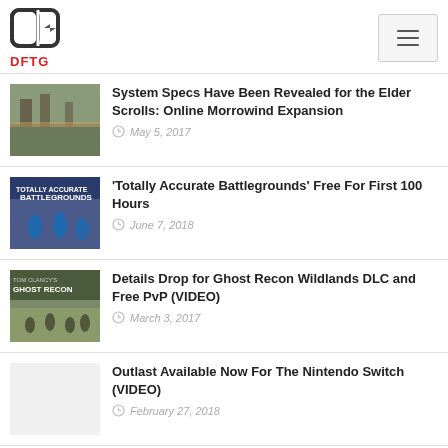DFTG
System Specs Have Been Revealed for the Elder Scrolls: Online Morrowind Expansion
May 5, 2017
'Totally Accurate Battlegrounds' Free For First 100 Hours
June 7, 2018
Details Drop for Ghost Recon Wildlands DLC and Free PvP (VIDEO)
March 3, 2017
Outlast Available Now For The Nintendo Switch (VIDEO)
February 27, 2018